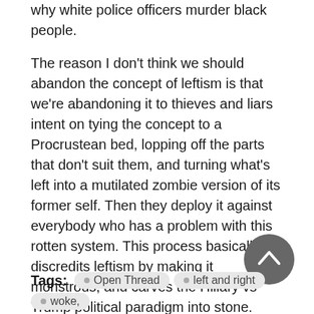why white police officers murder black people.
The reason I don't think we should abandon the concept of leftism is that we're abandoning it to thieves and liars intent on tying the concept to a Procrustean bed, lopping off the parts that don't suit them, and turning what's left into a mutilated zombie version of its former self. Then they deploy it against everybody who has a problem with this rotten system. This process basically discredits leftism by making it monstrous, and carves the Hillary vs Trump political paradigm into stone.
I have a bit of a problem with that.
How are you all today?
Tags: Open Thread   left and right   woke,